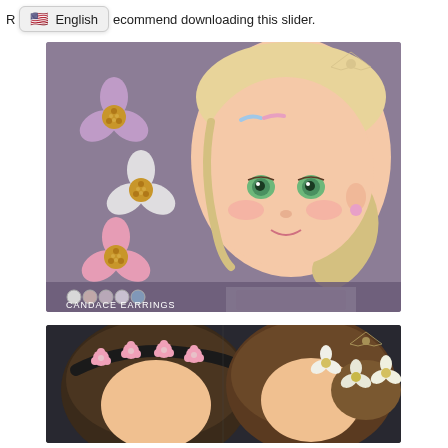R... ecommend downloading this slider.
[Figure (illustration): Sims 4 custom content preview showing flower earrings called 'Candace Earrings'. On the left are three flower earring variants: purple, white, and pink, each with a gold center. On the right is a 3D rendered toddler girl character with blonde hair tied in a ponytail, wearing a pink flower stud earring. At the bottom are color swatch circles and the label 'CANDACE EARRINGS'. A decorative winged logo appears in the top right.]
[Figure (illustration): Sims 4 custom content preview showing flower headband accessories. Left side shows a dark headband with pink flower decorations on a character with dark hair. Right side shows a character with brown hair wearing white/cream flower hair accessories. A decorative winged logo appears in the top right.]